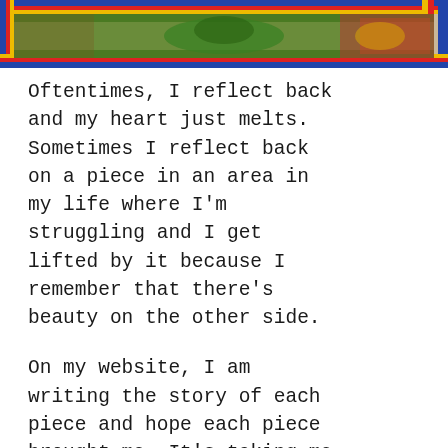[Figure (illustration): A colorful decorative artwork/tapestry with vibrant reds, greens, yellows and blues, framed by a multicolored border. Partial view showing the top portion of the image.]
Oftentimes, I reflect back and my heart just melts. Sometimes I reflect back on a piece in an area in my life where I'm struggling and I get lifted by it because I remember that there's beauty on the other side.
On my website, I am writing the story of each piece and hope each piece brought me. It's taking me